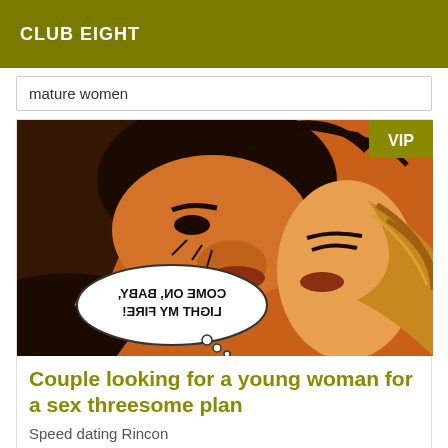CLUB EIGHT
mature women
[Figure (illustration): Comic book style illustration of a couple kissing. A speech bubble reads 'COME ON, BABY, LIGHT MY FIRE!' (mirrored/reversed text). A VIP badge appears in the top right corner.]
Couple looking for a young woman for a sex threesome plan
Speed dating Rincon